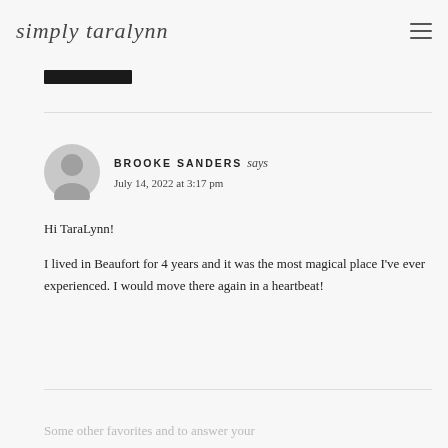simply taralynn
[Figure (other): Dark rectangular bar element]
BROOKE SANDERS says
July 14, 2022 at 3:17 pm
Hi TaraLynn!
I lived in Beaufort for 4 years and it was the most magical place I've ever experienced. I would move there again in a heartbeat!
Some other favorites and to answer your